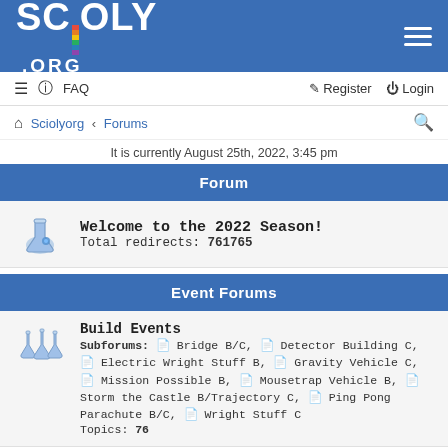SCIOLY .ORG
FAQ  Register  Login
Sciolyorg › Forums
It is currently August 25th, 2022, 3:45 pm
Forum
Welcome to the 2022 Season! Total redirects: 761765
Event Forums
Build Events
Subforums: Bridge B/C, Detector Building C, Electric Wright Stuff B, Gravity Vehicle C, Mission Possible B, Mousetrap Vehicle B, Storm the Castle B/Trajectory C, Ping Pong Parachute B/C, Wright Stuff C
Topics: 76